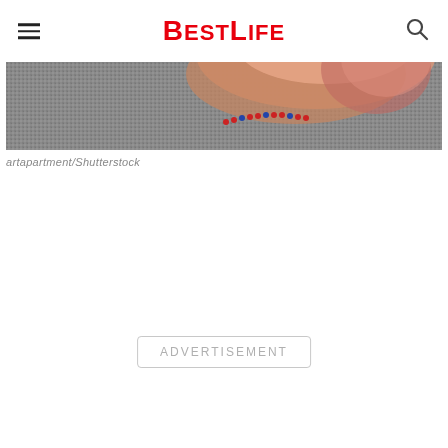BestLife
[Figure (photo): Close-up photo of a human foot/ankle on a textured grey surface, with a red and blue beaded anklet visible. The skin appears reddish/pink on the heel area.]
artapartment/Shutterstock
ADVERTISEMENT